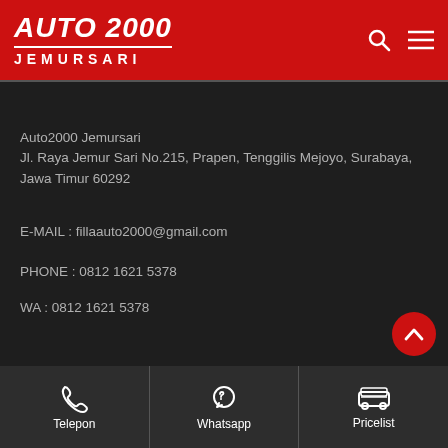AUTO 2000 JEMURSARI
Auto2000 Jemursari
Jl. Raya Jemur Sari No.215, Prapen, Tenggilis Mejoyo, Surabaya, Jawa Timur 60292
E-MAIL : fillaauto2000@gmail.com
PHONE : 0812 1621 5378
WA : 0812 1621 5378
Telepon | Whatsapp | Pricelist